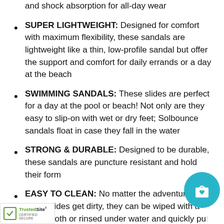and shock absorption for all-day wear
SUPER LIGHTWEIGHT: Designed for comfort with maximum flexibility, these sandals are lightweight like a thin, low-profile sandal but offer the support and comfort for daily errands or a day at the beach
SWIMMING SANDALS: These slides are perfect for a day at the pool or beach! Not only are they easy to slip-on with wet or dry feet; Solbounce sandals float in case they fall in the water
STRONG & DURABLE: Designed to be durable, these sandals are puncture resistant and hold their form
EASY TO CLEAN: No matter the adventure, if these slides get dirty, they can be wiped with a damp cloth or rinsed under water and quickly put on your feet. For a deep clean Solbounce sandals can be machine washed and air dried